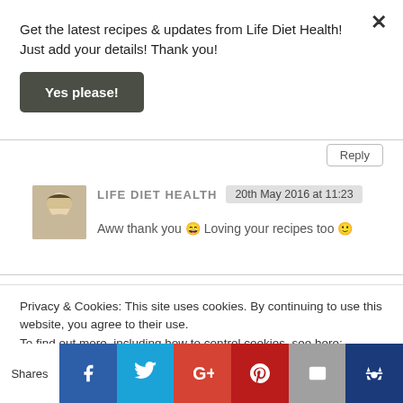Get the latest recipes & updates from Life Diet Health! Just add your details! Thank you!
Yes please!
Reply
LIFE DIET HEALTH  20th May 2016 at 11:23
Aww thank you 😀 Loving your recipes too 🙂
Reply
Privacy & Cookies: This site uses cookies. By continuing to use this website, you agree to their use.
To find out more, including how to control cookies, see here: Cookie Policy
Shares